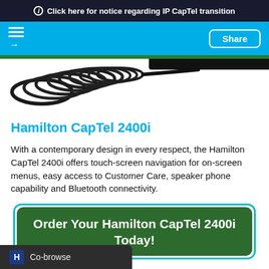Click here for notice regarding IP CapTel transition
[Figure (screenshot): Navigation bar with hamburger menu icon and Share button on cyan/blue background]
[Figure (photo): Partial photo of telephone handset cord (black coiled cord) against white background]
Hamilton CapTel 2400i
With a contemporary design in every respect, the Hamilton CapTel 2400i offers touch-screen navigation for on-screen menus, easy access to Customer Care, speaker phone capability and Bluetooth connectivity.
Order Your Hamilton CapTel 2400i Today!
Co-browse